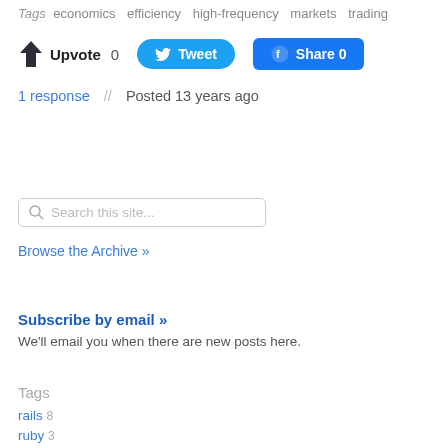Tags  economics  efficiency  high-frequency  markets  trading
Upvote 0   Tweet   Share 0
1 response  //  Posted 13 years ago
Search this site...
Browse the Archive »
Subscribe by email »
We'll email you when there are new posts here.
Tags
rails 8
ruby 3
activerecord 2
Facebook Platform 2